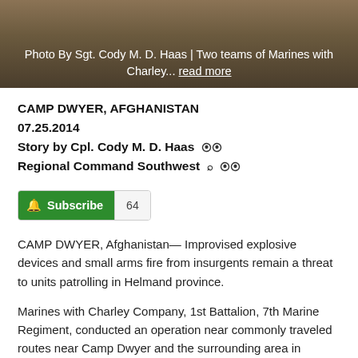[Figure (photo): Photo showing two teams of Marines with Charley, outdoor terrain background]
Photo By Sgt. Cody M. D. Haas | Two teams of Marines with Charley... read more
CAMP DWYER, AFGHANISTAN
07.25.2014
Story by Cpl. Cody M. D. Haas
Regional Command Southwest
Subscribe 64
CAMP DWYER, Afghanistan— Improvised explosive devices and small arms fire from insurgents remain a threat to units patrolling in Helmand province.
Marines with Charley Company, 1st Battalion, 7th Marine Regiment, conducted an operation near commonly traveled routes near Camp Dwyer and the surrounding area in Helmand province, Afghanistan, July 19-20.
Insurgents have been known to use heavily traveled routes to